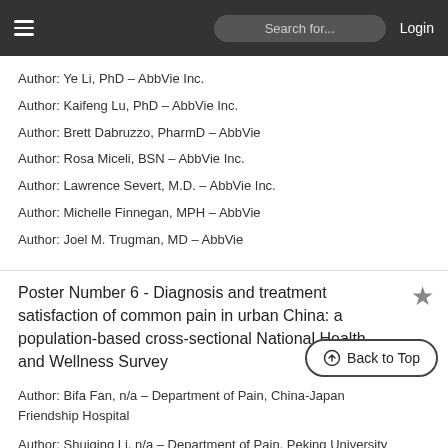Search for...  Login
Author: Ye Li, PhD – AbbVie Inc.
Author: Kaifeng Lu, PhD – AbbVie Inc.
Author: Brett Dabruzzo, PharmD – AbbVie
Author: Rosa Miceli, BSN – AbbVie Inc.
Author: Lawrence Severt, M.D. – AbbVie Inc.
Author: Michelle Finnegan, MPH – AbbVie
Author: Joel M. Trugman, MD – AbbVie
Poster Number 6 - Diagnosis and treatment satisfaction of common pain in urban China: a population-based cross-sectional National Health and Wellness Survey
Author: Bifa Fan, n/a – Department of Pain, China-Japan Friendship Hospital
Author: Shuiqing Li, n/a – Department of Pain, Peking University Third Hospital
Author: Baishan Wu, n/a – Department of Pain, Xuanwu Hospital, Capital Medical University